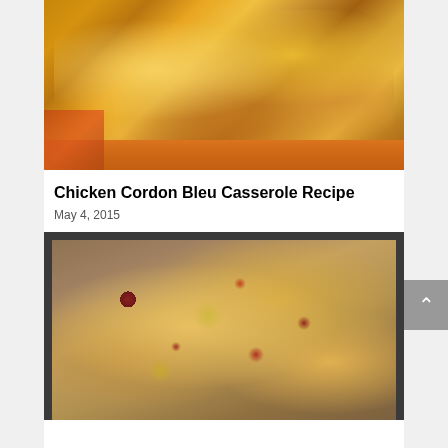[Figure (photo): A baked casserole dish in an orange/cream baking pan on an orange cloth, topped with golden crispy breadcrumb or cheese topping]
Chicken Cordon Bleu Casserole Recipe
May 4, 2015
[Figure (photo): A sheet pan pizza or casserole in a dark metal baking pan, topped with melted cheese, black beans, and red peppers on a wooden surface]